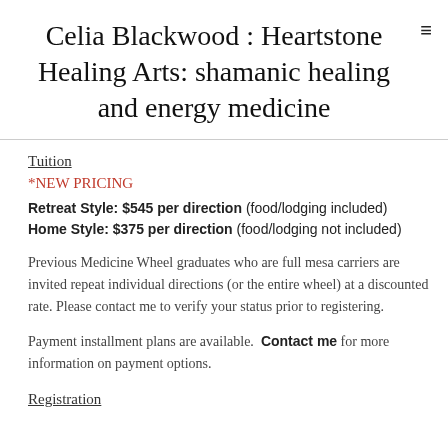Celia Blackwood : Heartstone Healing Arts: shamanic healing and energy medicine
Tuition
*NEW PRICING
Retreat Style: $545 per direction (food/lodging included)
Home Style: $375 per direction (food/lodging not included)
Previous Medicine Wheel graduates who are full mesa carriers are invited repeat individual directions (or the entire wheel) at a discounted rate. Please contact me to verify your status prior to registering.
Payment installment plans are available. Contact me for more information on payment options.
Registration